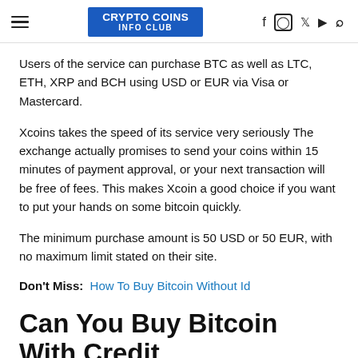CRYPTO COINS INFO CLUB
Users of the service can purchase BTC as well as LTC, ETH, XRP and BCH using USD or EUR via Visa or Mastercard.
Xcoins takes the speed of its service very seriously The exchange actually promises to send your coins within 15 minutes of payment approval, or your next transaction will be free of fees. This makes Xcoin a good choice if you want to put your hands on some bitcoin quickly.
The minimum purchase amount is 50 USD or 50 EUR, with no maximum limit stated on their site.
Don't Miss:  How To Buy Bitcoin Without Id
Can You Buy Bitcoin With Credit